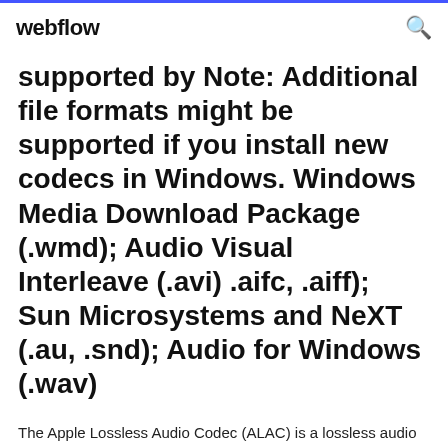webflow
supported by Note: Additional file formats might be supported if you install new codecs in Windows. Windows Media Download Package (.wmd); Audio Visual Interleave (.avi) .aifc, .aiff); Sun Microsystems and NeXT (.au, .snd); Audio for Windows (.wav)
The Apple Lossless Audio Codec (ALAC) is a lossless audio codec developed by Apple and deployed on all of its platforms and devices. - macosforge/alac. The Apple Lossless Audio Codec (ALAC) is a lossless audio codec...